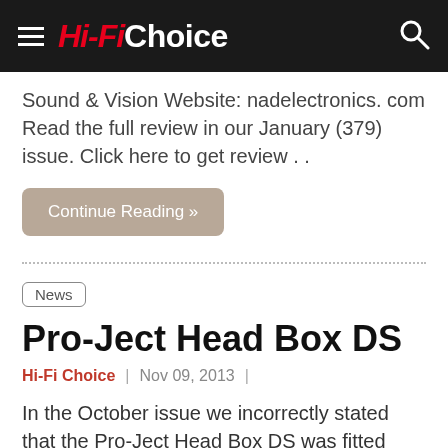Hi-Fi Choice
Sound & Vision Website: nadelectronics. com Read the full review in our January (379) issue. Click here to get review . .
Continue Reading »
News
Pro-Ject Head Box DS
Hi-Fi Choice  |  Nov 09, 2013  |
In the October issue we incorrectly stated that the Pro-Ject Head Box DS was fitted with a Burr Brown PCM1792 chipset, when in fact it came fitted with a